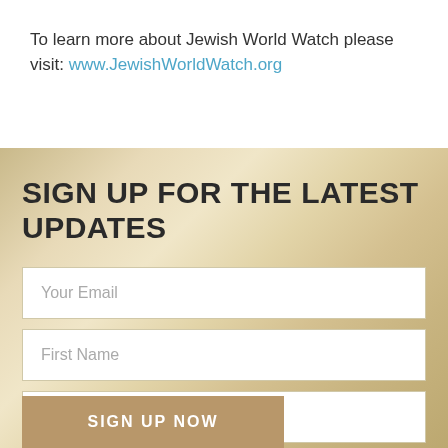To learn more about Jewish World Watch please visit: www.JewishWorldWatch.org
SIGN UP FOR THE LATEST UPDATES
[Figure (screenshot): Web signup form with fields: Your Email, First Name, Last name, and a SIGN UP NOW button on a gold/tan gradient background]